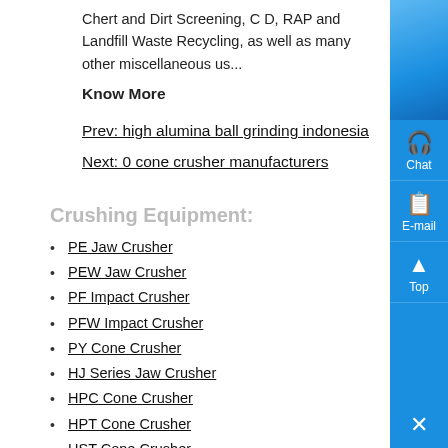Chert and Dirt Screening, C D, RAP and Landfill Waste Recycling, as well as many other miscellaneous us...
Know More
Prev: high alumina ball grinding indonesia
Next: 0 cone crusher manufacturers
Crushing Equipment:
PE Jaw Crusher
PEW Jaw Crusher
PF Impact Crusher
PFW Impact Crusher
PY Cone Crusher
HJ Series Jaw Crusher
HPC Cone Crusher
HPT Cone Crusher
HST Cone Crusher
CS Cone Crusher
Hammer Crusher
VSI Crusher